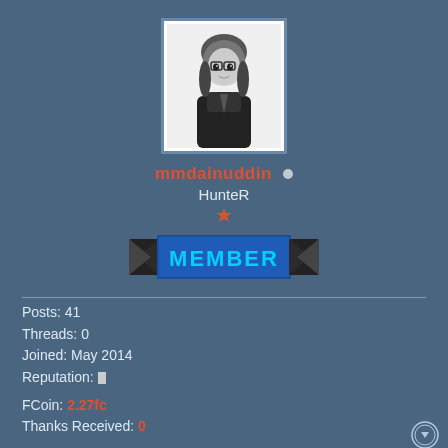[Figure (illustration): Anime-style avatar: black and white illustration of character with glasses and dark outfit, in a white bordered box]
mmdainuddin
HunteR
[Figure (illustration): Orange star icon]
[Figure (illustration): MEMBER badge banner in blue with decorative brackets]
Posts: 41
Threads: 0
Joined: May 2014
Reputation:
FCoin: 2.27fc
Thanks Received: 0
10-10-2014, 08:15 PM
#7
daripada [ergi ke stadaband mending pake ini aja